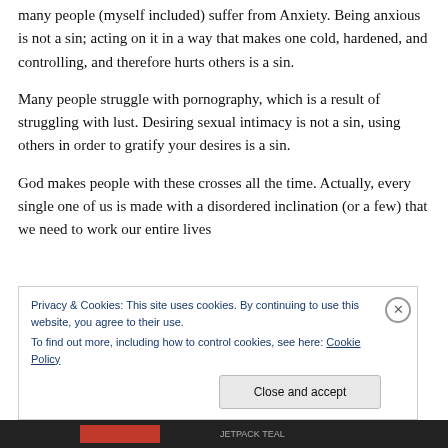many people (myself included) suffer from Anxiety. Being anxious is not a sin; acting on it in a way that makes one cold, hardened, and controlling, and therefore hurts others is a sin.
Many people struggle with pornography, which is a result of struggling with lust. Desiring sexual intimacy is not a sin, using others in order to gratify your desires is a sin.
God makes people with these crosses all the time. Actually, every single one of us is made with a disordered inclination (or a few) that we need to work our entire lives
Privacy & Cookies: This site uses cookies. By continuing to use this website, you agree to their use.
To find out more, including how to control cookies, see here: Cookie Policy
Close and accept